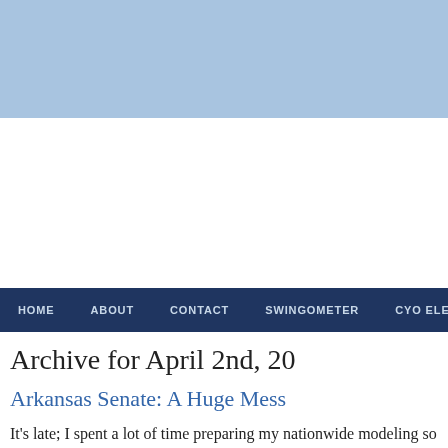[Figure (other): Light blue header banner area]
HOME   ABOUT   CONTACT   SWINGOMETER   CYO ELECTORAL CO
Archive for April 2nd, 20
Arkansas Senate: A Huge Mess
It's late; I spent a lot of time preparing my nationwide modeling so look at the Arkansas Senate race, per Rasmussen. It's a mess.